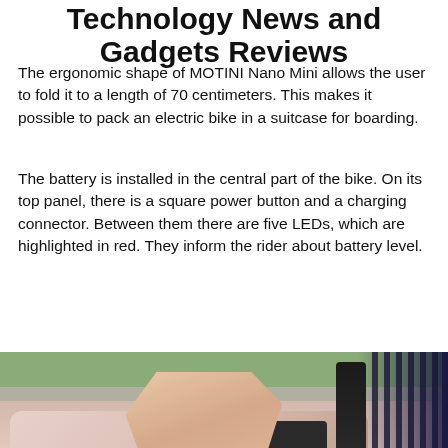Technology News and Gadgets Reviews
The ergonomic shape of MOTINI Nano Mini allows the user to fold it to a length of 70 centimeters. This makes it possible to pack an electric bike in a suitcase for boarding.
The battery is installed in the central part of the bike. On its top panel, there is a square power button and a charging connector. Between them there are five LEDs, which are highlighted in red. They inform the rider about battery level.
[Figure (photo): A photo showing a person's hand pressing a square power button on the top panel of a pink MOTINI Nano Mini electric bike, with a dark suitcase visible on the right side of the frame.]